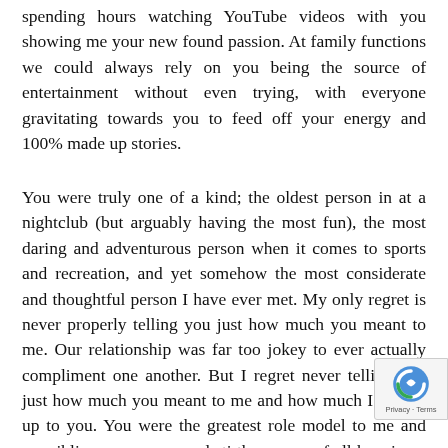spending hours watching YouTube videos with you showing me your new found passion. At family functions we could always rely on you being the source of entertainment without even trying, with everyone gravitating towards you to feed off your energy and 100% made up stories.
You were truly one of a kind; the oldest person in at a nightclub (but arguably having the most fun), the most daring and adventurous person when it comes to sports and recreation, and yet somehow the most considerate and thoughtful person I have ever met. My only regret is never properly telling you just how much you meant to me. Our relationship was far too jokey to ever actually compliment one another. But I regret never telling you just how much you meant to me and how much I looked up to you. You were the greatest role model to me and my siblings, you were and sti the source of all happiness and I can't coun number of holidays and days out we planned wi